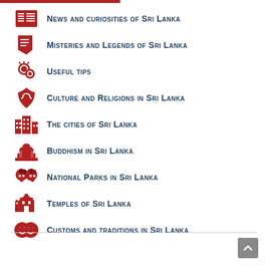News and curiosities of Sri Lanka
Misteries and Legends of Sri Lanka
Useful tips
Culture and Religions in Sri Lanka
The cities of Sri Lanka
Buddhism in Sri Lanka
National Parks in Sri Lanka
Temples of Sri Lanka
Customs and traditions in Sri Lanka